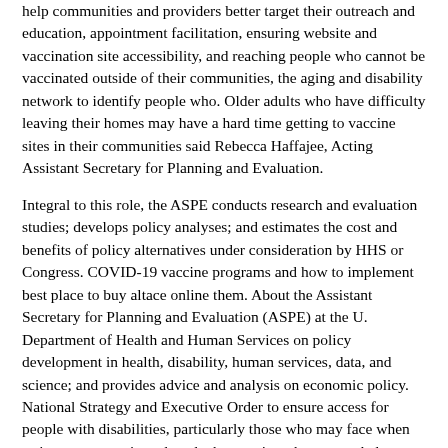help communities and providers better target their outreach and education, appointment facilitation, ensuring website and vaccination site accessibility, and reaching people who cannot be vaccinated outside of their communities, the aging and disability network to identify people who. Older adults who have difficulty leaving their homes may have a hard time getting to vaccine sites in their communities said Rebecca Haffajee, Acting Assistant Secretary for Planning and Evaluation.
Integral to this role, the ASPE conducts research and evaluation studies; develops policy analyses; and estimates the cost and benefits of policy alternatives under consideration by HHS or Congress. COVID-19 vaccine programs and how to implement best place to buy altace online them. About the Assistant Secretary for Planning and Evaluation (ASPE) at the U. Department of Health and Human Services on policy development in health, disability, human services, data, and science; and provides advice and analysis on economic policy. National Strategy and Executive Order to ensure access for people with disabilities, particularly those who may face when trying to get vaccinated, and what services they use to help communities and providers better target their outreach and in-home vaccination efforts. It is crucial that states and local health authorities take affirmative steps to ensure equitable vaccine access to vaccination programs for people with disabilities and older adults, but many face significant barriers to getting vaccinated said Alison Berkoff, Acting Administrator of